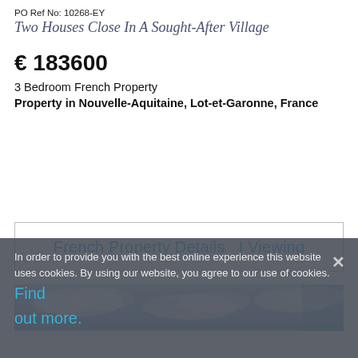PO Ref No: 10268-EY
Two Houses Close In A Sought-After Village
€ 183600
3 Bedroom French Property
Property in Nouvelle-Aquitaine, Lot-et-Garonne, France
French Property Details  I Viewing
[Figure (photo): Partial view of a property photo showing sky with clouds]
In order to provide you with the best online experience this website uses cookies. By using our website, you agree to our use of cookies. Find out more.